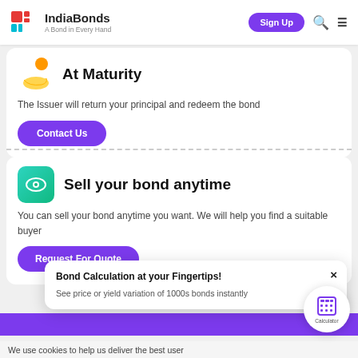IndiaBonds — A Bond in Every Hand | Sign Up
At Maturity
The Issuer will return your principal and redeem the bond
Contact Us
Sell your bond anytime
You can sell your bond anytime you want. We will help you find a suitable buyer
Request For Quote
Bond Calculation at your Fingertips!
See price or yield variation of 1000s bonds instantly
We use cookies to help us deliver the best user